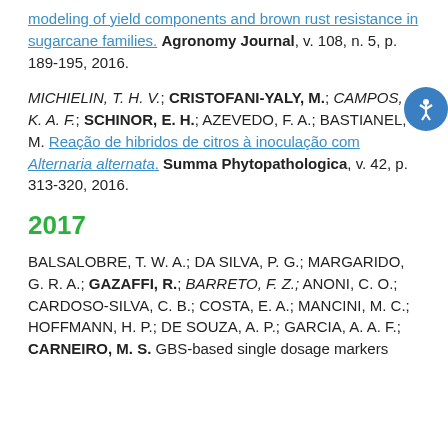modeling of yield components and brown rust resistance in sugarcane families. Agronomy Journal, v. 108, n. 5, p. 189-195, 2016.
MICHIELIN, T. H. V.; CRISTOFANI-YALY, M.; CAMPOS, K. A. F.; SCHINOR, E. H.; AZEVEDO, F. A.; BASTIANEL, M. Reação de hibridos de citros à inoculação com Alternaria alternata. Summa Phytopathologica, v. 42, p. 313-320, 2016.
2017
BALSALOBRE, T. W. A.; DA SILVA, P. G.; MARGARIDO, G. R. A.; GAZAFFI, R.; BARRETO, F. Z.; ANONI, C. O.; CARDOSO-SILVA, C. B.; COSTA, E. A.; MANCINI, M. C.; HOFFMANN, H. P.; DE SOUZA, A. P.; GARCIA, A. A. F.; CARNEIRO, M. S. GBS-based single dosage markers